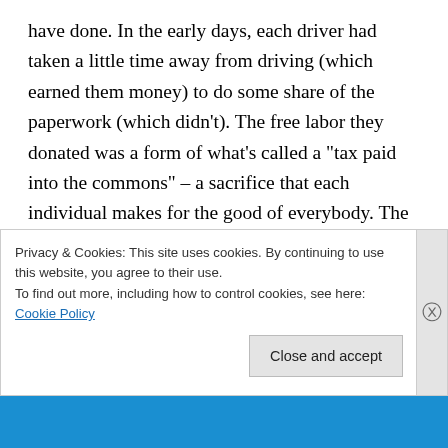have done. In the early days, each driver had taken a little time away from driving (which earned them money) to do some share of the paperwork (which didn't). The free labor they donated was a form of what's called a "tax paid into the commons" – a sacrifice that each individual makes for the good of everybody. The original bourgeois hippies who'd founded the place understood why this was necessary. The burnouts, addicts, and petty criminals had a harder time wrapping their heads around it. They tended not to do the paperwork at all; or if they did, it would be a mess precisely because they were burnouts, addicts, and
Privacy & Cookies: This site uses cookies. By continuing to use this website, you agree to their use.
To find out more, including how to control cookies, see here: Cookie Policy
Close and accept